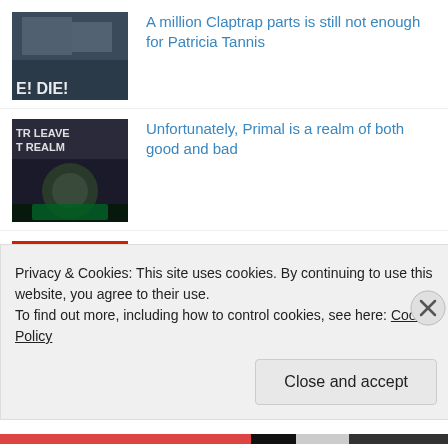A million Claptrap parts is still not enough for Patricia Tannis
Unfortunately, Primal is a realm of both good and bad
Pokémon Shuffle's Mega Glalie is bad game design
Privacy & Cookies: This site uses cookies. By continuing to use this website, you agree to their use.
To find out more, including how to control cookies, see here: Cookie Policy